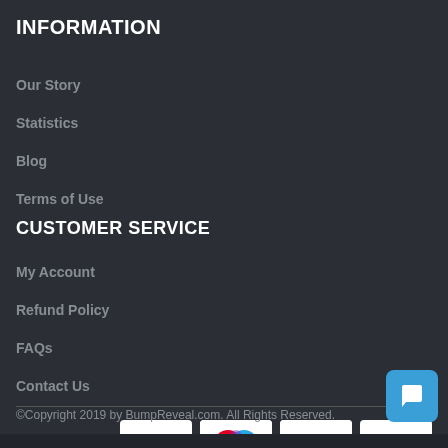INFORMATION
Our Story
Statistics
Blog
Terms of Use
CUSTOMER SERVICE
My Account
Refund Policy
FAQs
Contact Us
[Figure (logo): Payment method logos: PayPal, Maestro, Discover Network, Visa]
©Copyright 2019 by BumpReveal.com. All Rights Reserved.